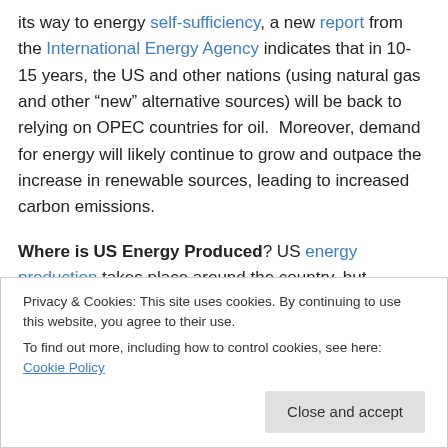its way to energy self-sufficiency, a new report from the International Energy Agency indicates that in 10-15 years, the US and other nations (using natural gas and other “new” alternative sources) will be back to relying on OPEC countries for oil.  Moreover, demand for energy will likely continue to grow and outpace the increase in renewable sources, leading to increased carbon emissions.
Where is US Energy Produced? US energy production takes place around the country, but primarily Texas, Wyoming, Louisiana and North Dakota.  However,
Privacy & Cookies: This site uses cookies. By continuing to use this website, you agree to their use.
To find out more, including how to control cookies, see here: Cookie Policy